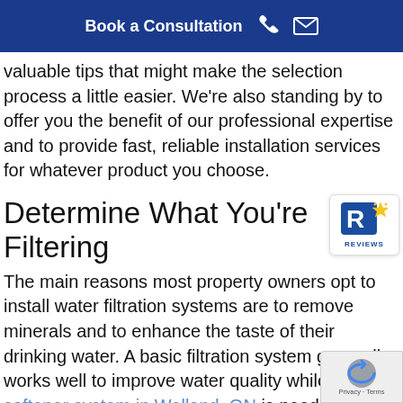Book a Consultation
valuable tips that might make the selection process a little easier. We’re also standing by to offer you the benefit of our professional expertise and to provide fast, reliable installation services for whatever product you choose.
Determine What You’re Filtering
[Figure (logo): Reviews badge with gold star icon and 'REVIEWS' text]
The main reasons most property owners opt to install water filtration systems are to remove minerals and to enhance the taste of their drinking water. A basic filtration system generally works well to improve water quality while a water softener system in Welland, ON is needed to address the problem of mineral-laden water.
[Figure (logo): Google reCAPTCHA badge with Privacy and Terms links]